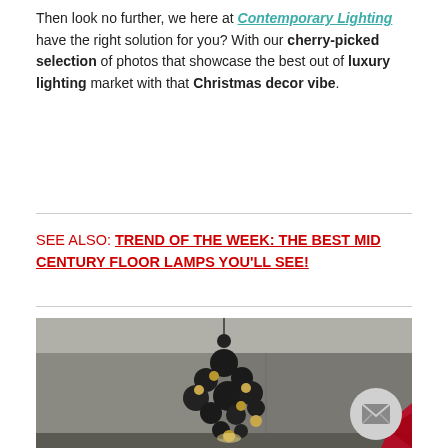Then look no further, we here at Contemporary Lighting have the right solution for you? With our cherry-picked selection of photos that showcase the best out of luxury lighting market with that Christmas decor vibe.
SEE ALSO: TREND OF THE WEEK: THE BEST MID CENTURY FLOOR LAMPS YOU'LL SEE!
[Figure (photo): A modern luxury chandelier with multiple black and gold spherical globes clustered together, hanging from the ceiling in a room with concrete walls.]